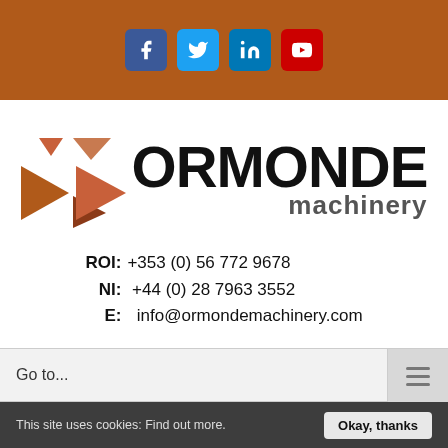[Figure (other): Header bar with social media icons: Facebook, Twitter, LinkedIn, YouTube on brown background]
[Figure (logo): Ormonde Machinery logo with orange/brown geometric arrow shapes on left and ORMONDE machinery text]
ROI: +353 (0) 56 772 9678
NI:  +44 (0) 28 7963 3552
E:   info@ormondemachinery.com
Go to...
This site uses cookies: Find out more. Okay, thanks